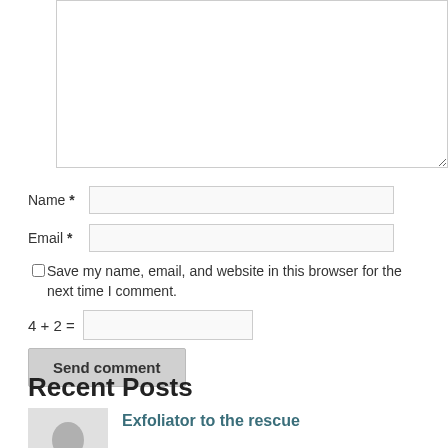[Figure (other): Comment form textarea (empty), partially visible at top]
Name *
Email *
Save my name, email, and website in this browser for the next time I comment.
4 + 2 =
Send comment
Recent Posts
Exfoliator to the rescue